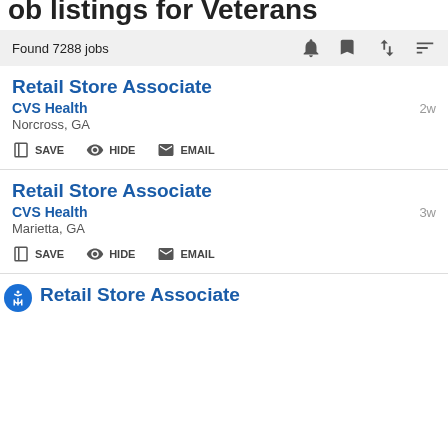Job listings for Veterans
Found 7288 jobs
Retail Store Associate — CVS Health — Norcross, GA — 2w
Retail Store Associate — CVS Health — Marietta, GA — 3w
Retail Store Associate (partial)